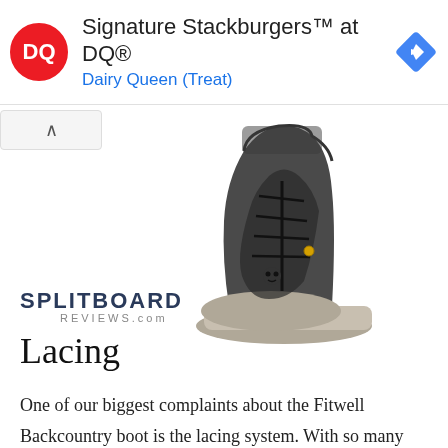[Figure (other): Dairy Queen advertisement banner showing DQ logo, text 'Signature Stackburgers™ at DQ®' and 'Dairy Queen (Treat)', with a navigation arrow icon on the right]
[Figure (photo): Close-up front view of a Fitwell Backcountry snowboard boot, black upper with lacing system and grey/tan sole, on white background, with Splitboard Reviews.com logo watermark]
Lacing
One of our biggest complaints about the Fitwell Backcountry boot is the lacing system.  With so many advanced lacing systems on the market that take the